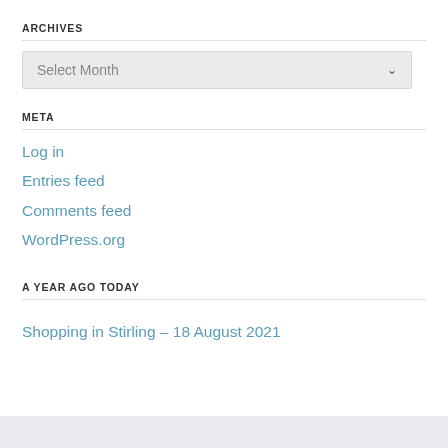ARCHIVES
Select Month
META
Log in
Entries feed
Comments feed
WordPress.org
A YEAR AGO TODAY
Shopping in Stirling – 18 August 2021